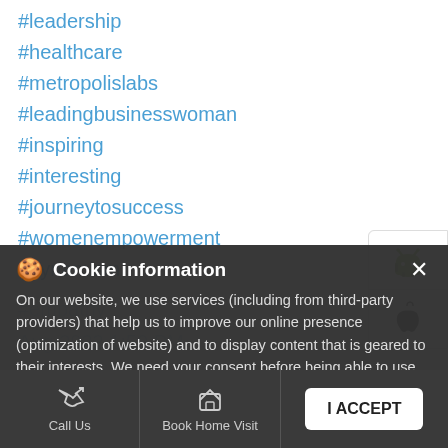#leadership
#healthcare
#metropolislabs
#leadingbusinesswoman
#inspiring
#interesting
#journeytosuccess
#womenempowerment
#dynamism
[Figure (screenshot): Android app download button (green Android robot icon)]
[Figure (screenshot): Apple iOS app download button (Apple logo icon)]
Cookie information
On our website, we use services (including from third-party providers) that help us to improve our online presence (optimization of website) and to display content that is geared to their interests. We need your consent before being able to use these services.
Call Us  Book Home Visit  Directions  I ACCEPT